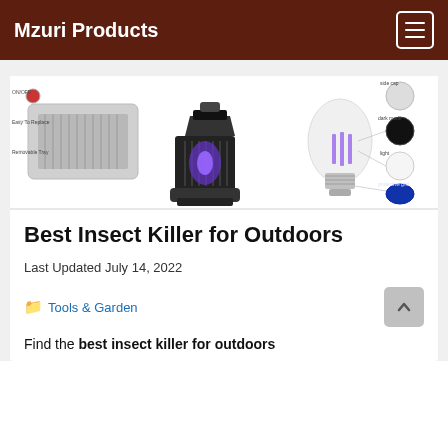Mzuri Products
[Figure (photo): Three insect killer products: a flat indoor electric grid zapper, a lantern-style outdoor bug zapper with purple UV light, and a light-bulb shaped mosquito killer with component callouts]
Best Insect Killer for Outdoors
Last Updated July 14, 2022
Tools & Garden
Find the best insect killer for outdoors